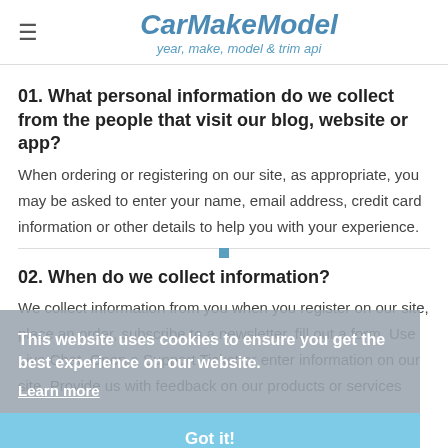CarMakeModel — year, make, model & trim api
01. What personal information do we collect from the people that visit our blog, website or app?
When ordering or registering on our site, as appropriate, you may be asked to enter your name, email address, credit card information or other details to help you with your experience.
02. When do we collect information?
We collect information from you when you register on our site, place an order, subscribe to a newsletter, fill out a form, Use Live Chat, Open a Support Ticket or enter information on our site. Provide us with feedback on our products or services
This website uses cookies to ensure you get the best experience on our website. Learn more Got it!
03. How do we use your information?
We may use the information we collect from you when you